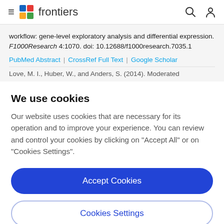frontiers
workflow: gene-level exploratory analysis and differential expression. F1000Research 4:1070. doi: 10.12688/f1000research.7035.1
PubMed Abstract | CrossRef Full Text | Google Scholar
Love, M. I., Huber, W., and Anders, S. (2014). Moderated
We use cookies
Our website uses cookies that are necessary for its operation and to improve your experience. You can review and control your cookies by clicking on "Accept All" or on "Cookies Settings".
Accept Cookies
Cookies Settings